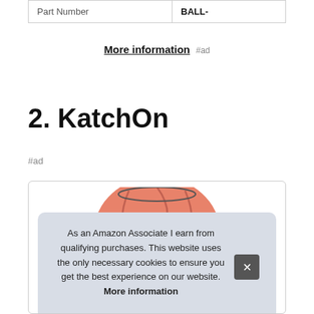| Part Number | BALL- |
| --- | --- |
More information #ad
2. KatchOn
#ad
[Figure (photo): Product image of a basketball (pink/salmon colored) partially visible at the top of a product card]
As an Amazon Associate I earn from qualifying purchases. This website uses the only necessary cookies to ensure you get the best experience on our website. More information